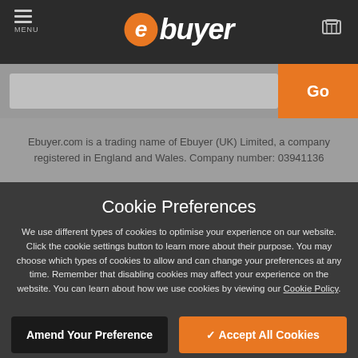ebuyer MENU
Ebuyer.com is a trading name of Ebuyer (UK) Limited, a company registered in England and Wales. Company number: 03941136
Cookie Preferences
We use different types of cookies to optimise your experience on our website. Click the cookie settings button to learn more about their purpose. You may choose which types of cookies to allow and can change your preferences at any time. Remember that disabling cookies may affect your experience on the website. You can learn about how we use cookies by viewing our Cookie Policy.
Amend Your Preference
Accept All Cookies